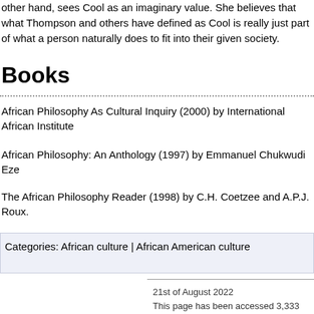other hand, sees Cool as an imaginary value. She believes that what Thompson and others have defined as Cool is really just part of what a person naturally does to fit into their given society.
Books
African Philosophy As Cultural Inquiry (2000) by International African Institute
African Philosophy: An Anthology (1997) by Emmanuel Chukwudi Eze
The African Philosophy Reader (1998) by C.H. Coetzee and A.P.J. Roux.
Categories: African culture | African American culture
21st of August 2022
This page has been accessed 3,333 times.